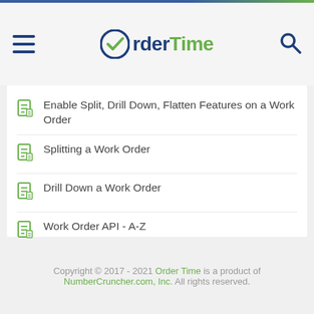OrderTime
Enable Split, Drill Down, Flatten Features on a Work Order
Splitting a Work Order
Drill Down a Work Order
Work Order API - A-Z
Using Quick Build for Work Orders from a Sales Order
Copyright © 2017 - 2021 Order Time is a product of NumberCruncher.com, Inc. All rights reserved.